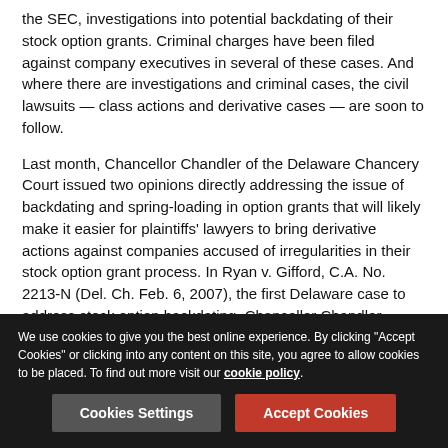the SEC, investigations into potential backdating of their stock option grants. Criminal charges have been filed against company executives in several of these cases. And where there are investigations and criminal cases, the civil lawsuits — class actions and derivative cases — are soon to follow.
Last month, Chancellor Chandler of the Delaware Chancery Court issued two opinions directly addressing the issue of backdating and spring-loading in option grants that will likely make it easier for plaintiffs' lawyers to bring derivative actions against companies accused of irregularities in their stock option grant process. In Ryan v. Gifford, C.A. No. 2213-N (Del. Ch. Feb. 6, 2007), the first Delaware case to address stock option backdating, Chancellor Chandler expressly ruled on the illegality of the practice. In addition, the chancellor addressed both the demand requirement under Aronson, and the substance of the backdating allegations against the company.
We use cookies to give you the best online experience. By clicking "Accept Cookies" or clicking into any content on this site, you agree to allow cookies to be placed. To find out more visit our cookie policy.